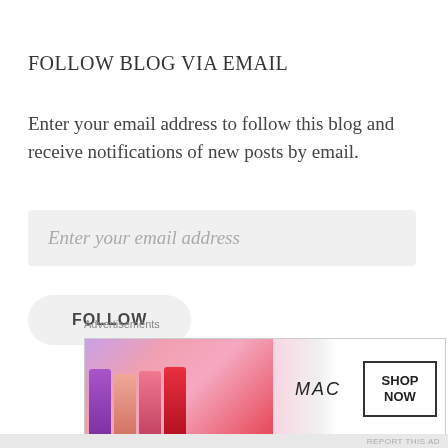FOLLOW BLOG VIA EMAIL
Enter your email address to follow this blog and receive notifications of new posts by email.
Enter your email address
FOLLOW
Advertisements
[Figure (photo): MAC Cosmetics advertisement banner showing multiple lipsticks in purple, peach, pink, and red colors with MAC logo and SHOP NOW button]